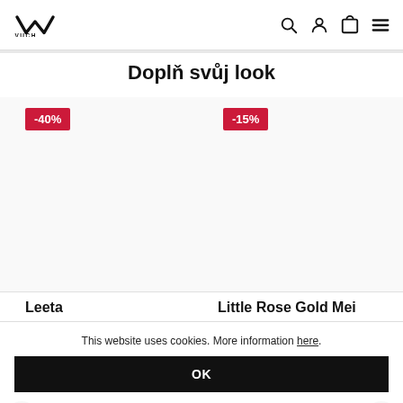VUCH. [logo] [search icon] [user icon] [cart icon] [menu icon]
Doplň svůj look
[Figure (other): Product carousel with two product images showing -40% and -15% discount badges. Product names partially visible at bottom: 'Leeta' and 'Little Rose Gold Mei'.]
This website uses cookies. More information here.
OK